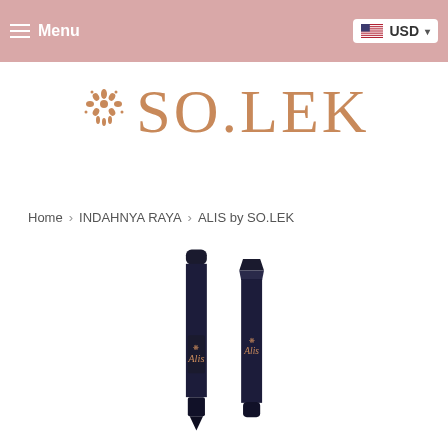Menu  USD
[Figure (logo): SO.LEK brand logo with ornamental floral emblem in rose gold/copper color]
Home > INDAHNYA RAYA > ALIS by SO.LEK
[Figure (photo): Two black eyebrow pencils (ALIS by SO.LEK) shown side by side — one capped and one uncapped with angled tip — with gold logo text on the barrels]